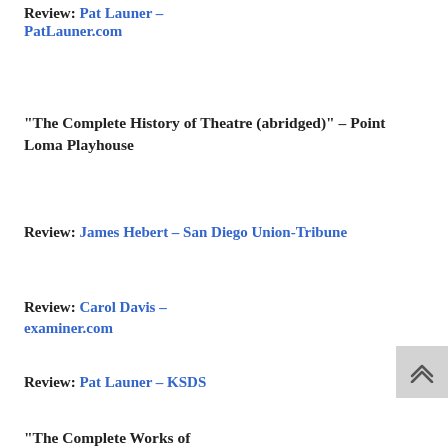Review: Pat Launer – PatLauner.com
“The Complete History of Theatre (abridged)” – Point Loma Playhouse
Review: James Hebert – San Diego Union-Tribune
Review: Carol Davis – examiner.com
Review: Pat Launer – KSDS
“The Complete Works of